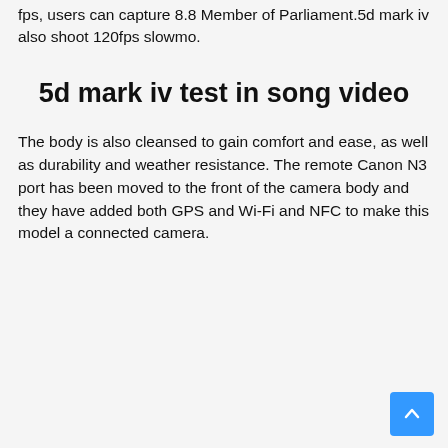fps, users can capture 8.8 Member of Parliament.5d mark iv also shoot 120fps slowmo.
5d mark iv test in song video
The body is also cleansed to gain comfort and ease, as well as durability and weather resistance. The remote Canon N3 port has been moved to the front of the camera body and they have added both GPS and Wi-Fi and NFC to make this model a connected camera.